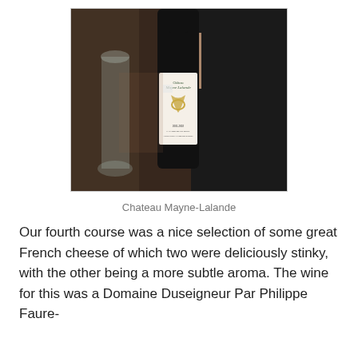[Figure (photo): A person in a dark suit holding a bottle of Chateau Mayne-Lalande red wine by its neck, with a clear glass carafe or bottle visible to the left, in a restaurant setting.]
Chateau Mayne-Lalande
Our fourth course was a nice selection of some great French cheese of which two were deliciously stinky, with the other being a more subtle aroma. The wine for this was a Domaine Duseigneur Par Philippe Faure-